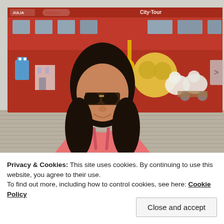[Figure (photo): A young woman with dark hair and sunglasses wearing a pink/coral top, standing in front of a red double-decker tour bus decorated with cartoon artwork. The bus shows 'City Tour' branding and 'Gran Line' logos.]
Privacy & Cookies: This site uses cookies. By continuing to use this website, you agree to their use.
To find out more, including how to control cookies, see here: Cookie Policy
Close and accept